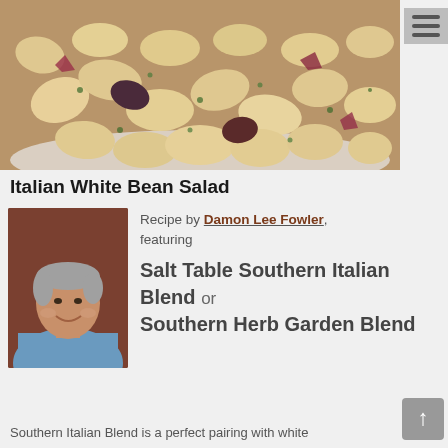[Figure (photo): Close-up photo of Italian White Bean Salad in a white bowl — large white beans with red onion, capers, dark olives, and chopped green herbs]
Italian White Bean Salad
[Figure (photo): Portrait photo of Damon Lee Fowler, a middle-aged man with gray hair wearing a light blue shirt, smiling]
Recipe by Damon Lee Fowler, featuring
Salt Table Southern Italian Blend or Southern Herb Garden Blend
Southern Italian Blend is a perfect pairing with white